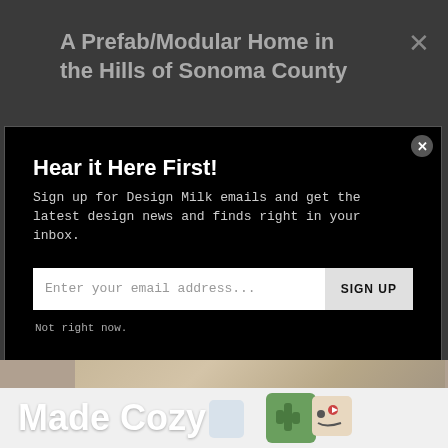A Prefab/Modular Home in the Hills of Sonoma County
Hear it Here First!
Sign up for Design Milk emails and get the latest design news and finds right in your inbox.
Enter your email address...
SIGN UP
Not right now.
[Figure (photo): Interior photo showing a modern room with wood flooring and furniture]
Made Cozy
[Figure (photo): Decorative pillows including a green cactus pillow and a character pillow]